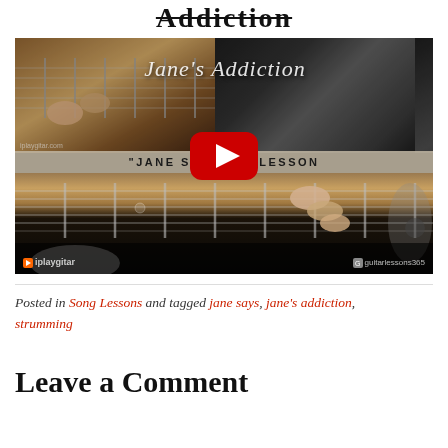Addiction
[Figure (screenshot): YouTube video thumbnail for a Jane's Addiction 'Jane Says' guitar lesson, showing guitar close-up on top-left, guitarist on top-right, fretboard on bottom, with cursive 'Jane's Addiction' signature overlay and a YouTube play button in the center. Watermarks: 'iplaygitar' bottom-left, logo bottom-right.]
Posted in Song Lessons and tagged jane says, jane's addiction, strumming
Leave a Comment